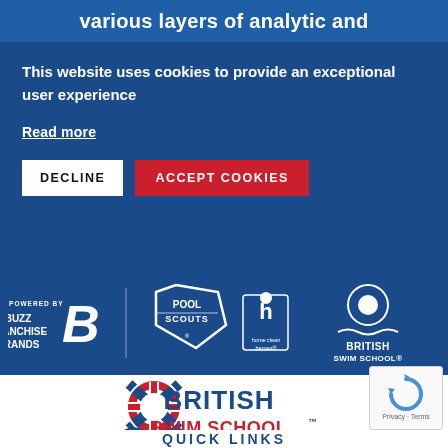various layers of analytic and
This website uses cookies to provide an exceptional user experience
Read more
DECLINE
ACCEPT COOKIES
[Figure (logo): Brands powered by Buzz Franchise Brands logo, Pool Scouts logo, Home Clean Heroes logo, British Swim School logo — all in white on dark blue background]
[Figure (logo): British Swim School logo — life preserver ring with Union Jack pattern, waves, red and blue text reading BRITISH SWIM SCHOOL]
QUICK LINKS